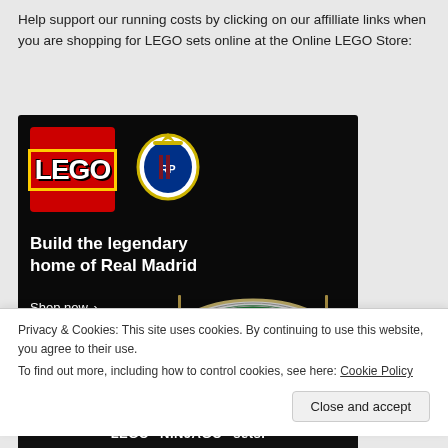Help support our running costs by clicking on our affilliate links when you are shopping for LEGO sets online at the Online LEGO Store:
[Figure (illustration): LEGO advertisement banner for Real Madrid Santiago Bernabéu stadium set. Black background with LEGO logo (red box with white LEGO text) and Real Madrid crest at top. White bold text reads 'Build the legendary home of Real Madrid'. 'Shop now >' button in white. Right side shows a detailed LEGO model of the Santiago Bernabéu stadium.]
Privacy & Cookies: This site uses cookies. By continuing to use this website, you agree to their use.
To find out more, including how to control cookies, see here: Cookie Policy
Close and accept
LEGO® NINJAGO® sets.